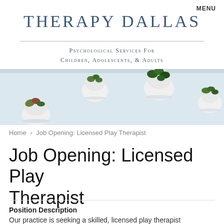MENU
THERAPY DALLAS
Psychological Services For Children, Adolescents, & Adults
[Figure (photo): Decorative banner photo showing five small white round ceramic planters with succulents mounted on a light grey wall]
Home > Job Opening: Licensed Play Therapist
Job Opening: Licensed Play Therapist
Position Description
Our practice is seeking a skilled, licensed play therapist (RPT preferred) to expand our existing play therapy...